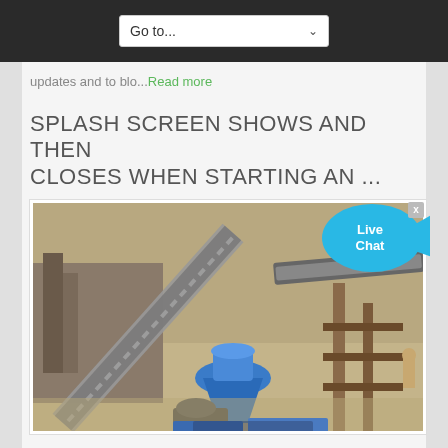Go to...
updates and to blo...Read more
SPLASH SCREEN SHOWS AND THEN CLOSES WHEN STARTING AN ...
[Figure (photo): Industrial mining or quarrying machinery — conveyors, crushers, and structural steel in an outdoor industrial setting. A blue cone crusher is visible in the center foreground.]
Starting AutoCAD-based products without hardware video